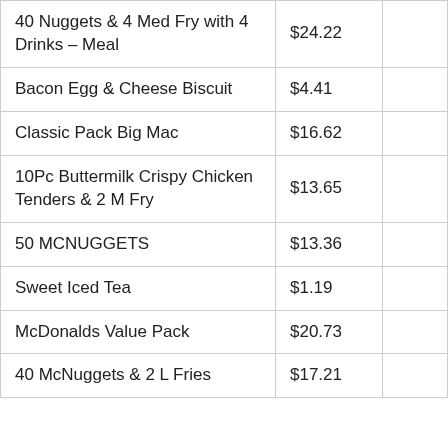| Item | Price |  |
| --- | --- | --- |
| 40 Nuggets & 4 Med Fry with 4 Drinks – Meal | $24.22 |  |
| Bacon Egg & Cheese Biscuit | $4.41 |  |
| Classic Pack Big Mac | $16.62 |  |
| 10Pc Buttermilk Crispy Chicken Tenders & 2 M Fry | $13.65 |  |
| 50 MCNUGGETS | $13.36 |  |
| Sweet Iced Tea | $1.19 |  |
| McDonalds Value Pack | $20.73 |  |
| 40 McNuggets & 2 L Fries | $17.21 |  |